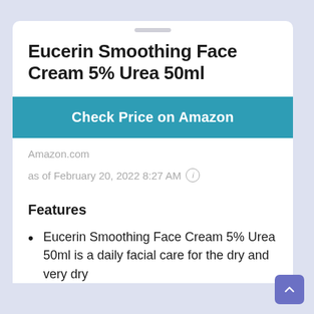Eucerin Smoothing Face Cream 5% Urea 50ml
Check Price on Amazon
Amazon.com
as of February 20, 2022 8:27 AM
Features
Eucerin Smoothing Face Cream 5% Urea 50ml is a daily facial care for the dry and very dry